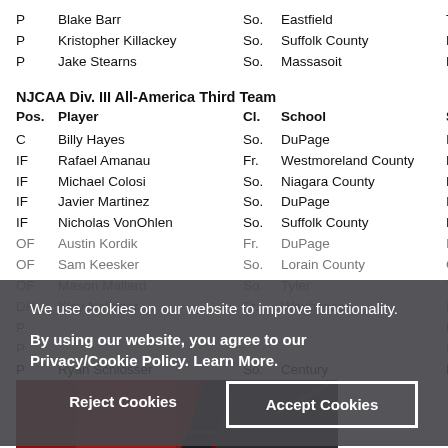| Pos. | Player | Cl. | School | State |
| --- | --- | --- | --- | --- |
| P | Blake Barr | So. | Eastfield | TX |
| P | Kristopher Killackey | So. | Suffolk County | NY |
| P | Jake Stearns | So. | Massasoit | MA |
NJCAA Div. III All-America Third Team
| Pos. | Player | Cl. | School | State |
| --- | --- | --- | --- | --- |
| C | Billy Hayes | So. | DuPage | IL |
| IF | Rafael Amanau | Fr. | Westmoreland County | PA |
| IF | Michael Colosi | So. | Niagara County | NY |
| IF | Javier Martinez | So. | DuPage | IL |
| IF | Nicholas VonOhlen | So. | Suffolk County | NY |
| OF | Austin Kordik | Fr. | DuPage | IL |
| OF | Sam Keesker | So. | Lorain County | OH |
| OF | Mason Mallard | So. | Tyler | TX |
| DH | Klay Natziger | Fr. | Waubonsee | IL |
| P |  |  |  | MA |
| P |  |  |  | IL |
| P | Ryan Schlosser | So. | Century | MN |
[Figure (photo): Photo strip at bottom showing baseball uniform/equipment in red and dark colors]